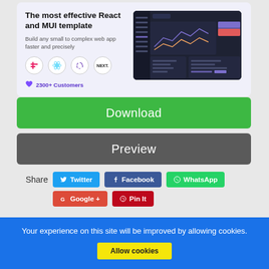The most effective React and MUI template
Build any small to complex web app faster and precisely
2300+ Customers
[Figure (screenshot): Dashboard UI screenshot showing a dark sidebar navigation, line chart, and data table with purple/blue theme]
Download
Preview
Share
Twitter
Facebook
WhatsApp
Google +
Pin It
Your experience on this site will be improved by allowing cookies.
Allow cookies